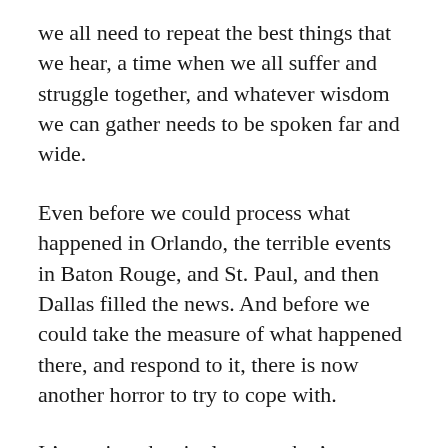we all need to repeat the best things that we hear, a time when we all suffer and struggle together, and whatever wisdom we can gather needs to be spoken far and wide.
Even before we could process what happened in Orlando, the terrible events in Baton Rouge, and St. Paul, and then Dallas filled the news. And before we could take the measure of what happened there, and respond to it, there is now another horror to try to cope with.
It’s not just the single event that’s frightening, but the number of them, happening one right after the other that has us at a loss for what to do.  Soon enough though, we’ll have the